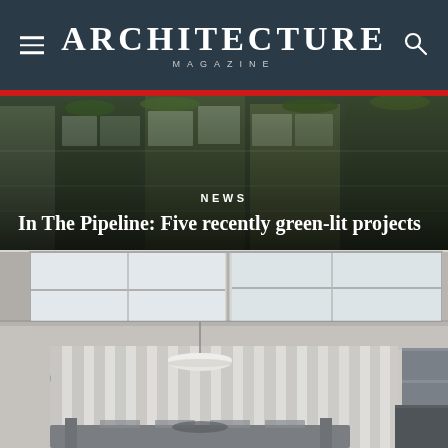ARCHITECTURE MAGAZINE
[Figure (photo): Aerial/exterior view of a modern building with green terraces and glass facades, used as background for news banner]
NEWS
In The Pipeline: Five recently green-lit projects
[Figure (photo): Interior of a modern room with large skylight ceiling panels, white curtains, pendant lamp, plant, dining table and chairs, and dark cabinet on the right]